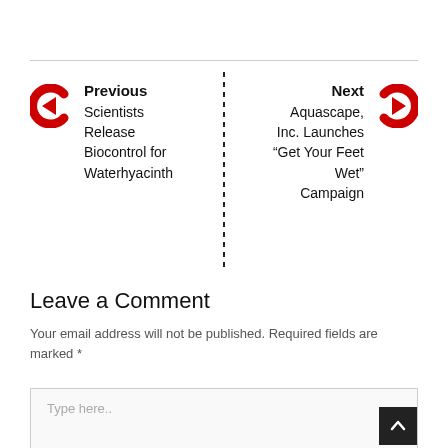Previous: Scientists Release Biocontrol for Waterhyacinth
Next: Aquascape, Inc. Launches “Get Your Feet Wet” Campaign
Leave a Comment
Your email address will not be published. Required fields are marked *